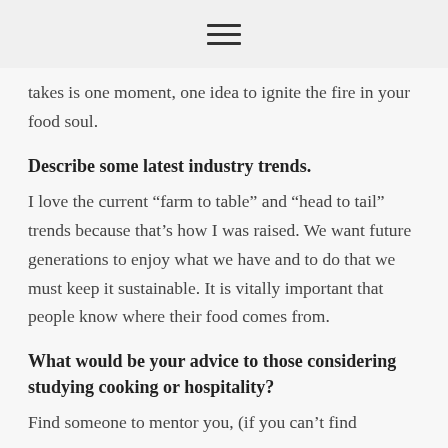☰
takes is one moment, one idea to ignite the fire in your food soul.
Describe some latest industry trends.
I love the current “farm to table” and “head to tail” trends because that’s how I was raised. We want future generations to enjoy what we have and to do that we must keep it sustainable. It is vitally important that people know where their food comes from.
What would be your advice to those considering studying cooking or hospitality?
Find someone to mentor you, (if you can’t find